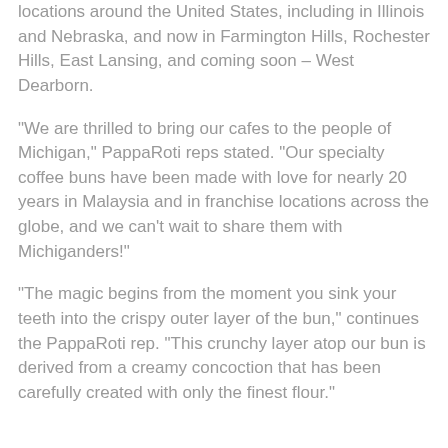locations around the United States, including in Illinois and Nebraska, and now in Farmington Hills, Rochester Hills, East Lansing, and coming soon – West Dearborn.
"We are thrilled to bring our cafes to the people of Michigan," PappaRoti reps stated. "Our specialty coffee buns have been made with love for nearly 20 years in Malaysia and in franchise locations across the globe, and we can't wait to share them with Michiganders!"
"The magic begins from the moment you sink your teeth into the crispy outer layer of the bun," continues the PappaRoti rep. "This crunchy layer atop our bun is derived from a creamy concoction that has been carefully created with only the finest flour."